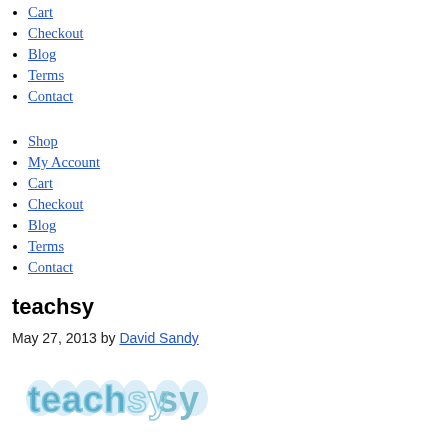Cart
Checkout
Blog
Terms
Contact
Shop
My Account
Cart
Checkout
Blog
Terms
Contact
teachsy
May 27, 2013 by David Sandy
[Figure (logo): teachsy logo with stylized text in light blue with bubble letter design]